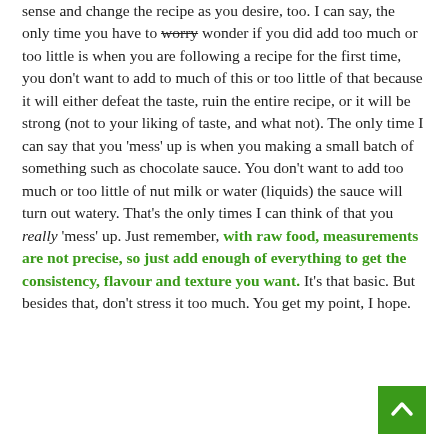sense and change the recipe as you desire, too. I can say, the only time you have to worry wonder if you did add too much or too little is when you are following a recipe for the first time, you don't want to add to much of this or too little of that because it will either defeat the taste, ruin the entire recipe, or it will be strong (not to your liking of taste, and what not). The only time I can say that you 'mess' up is when you making a small batch of something such as chocolate sauce. You don't want to add too much or too little of nut milk or water (liquids) the sauce will turn out watery. That's the only times I can think of that you really 'mess' up. Just remember, with raw food, measurements are not precise, so just add enough of everything to get the consistency, flavour and texture you want. It's that basic. But besides that, don't stress it too much. You get my point, I hope.
[Figure (other): Green back-to-top button with upward arrow chevron icon in bottom right corner]